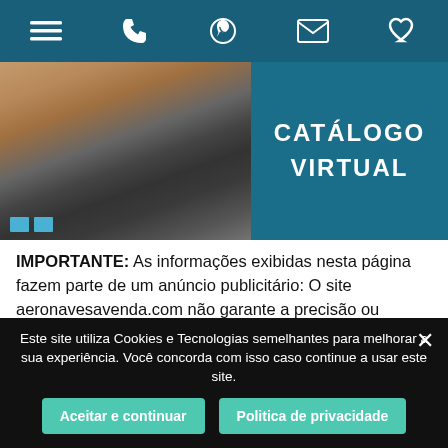Navigation bar with menu, phone, WhatsApp, email, and favorites icons
[Figure (screenshot): Banner image showing laptop keyboard with hands typing, and teal overlay with text CATÁLOGO VIRTUAL in white bold uppercase letters]
IMPORTANTE: As informações exibidas nesta página fazem parte de um anúncio publicitário: O site aeronavesavenda.com não garante a precisão ou veracidade do anúncio ou de qualquer informação associada a ele. O site aeronavesavenda.com não possui controle sobre o conteúdo, que é de responsabilidade do anunciante. Todas as informações são fornecidas e mantidas pelo anunciante. Por favor, entre diretamente em contato com o anunciante para
Este site utiliza Cookies e Tecnologias semelhantes para melhorar a sua experiência. Você concorda com isso caso continue a usar este site.
Aceitar e continuar   Politica de privacidade